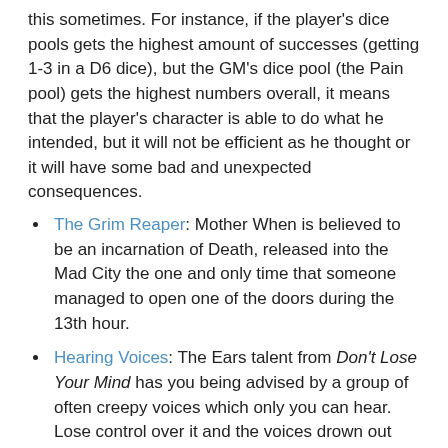this sometimes. For instance, if the player's dice pools gets the highest amount of successes (getting 1-3 in a D6 dice), but the GM's dice pool (the Pain pool) gets the highest numbers overall, it means that the player's character is able to do what he intended, but it will not be efficient as he thought or it will have some bad and unexpected consequences.
The Grim Reaper: Mother When is believed to be an incarnation of Death, released into the Mad City the one and only time that someone managed to open one of the doors during the 13th hour.
Hearing Voices: The Ears talent from Don't Lose Your Mind has you being advised by a group of often creepy voices which only you can hear. Lose control over it and the voices drown out your own thoughts - your head erupts into a mass of mouths, all of them constantly talking and talking, turning you into a Nightmare known as a Talking Head.